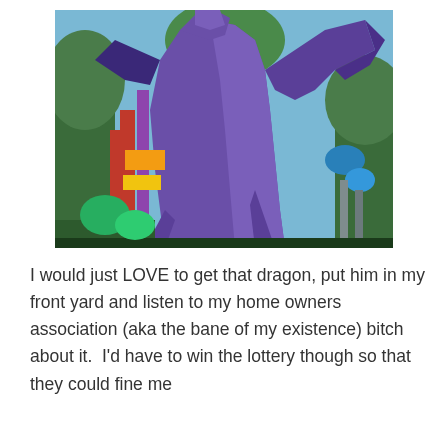[Figure (photo): A large purple dragon statue or inflatable sculpture photographed from below against a blue sky, with trees and colorful decorations visible in the background.]
I would just LOVE to get that dragon, put him in my front yard and listen to my home owners association (aka the bane of my existence) bitch about it.  I'd have to win the lottery though so that they could fine me